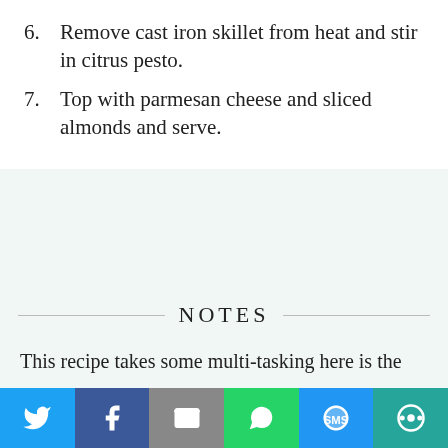Messy Cutting Board  MENU
6. Remove cast iron skillet from heat and stir in citrus pesto.
7. Top with parmesan cheese and sliced almonds and serve.
NOTES
This recipe takes some multi-tasking here is the
Privacy & Cookies: This site uses cookies. By continuing to use this website, you agree to their use. To find out more, including how to control cookies, see here: Cookie Policy